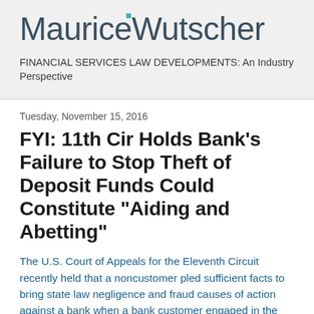[Figure (logo): MauriceWutscher law firm logo in dark slate blue with a small teal square accent above the letter W]
FINANCIAL SERVICES LAW DEVELOPMENTS: An Industry Perspective
Tuesday, November 15, 2016
FYI: 11th Cir Holds Bank's Failure to Stop Theft of Deposit Funds Could Constitute "Aiding and Abetting"
The U.S. Court of Appeals for the Eleventh Circuit recently held that a noncustomer pled sufficient facts to bring state law negligence and fraud causes of action against a bank when a bank customer engaged in the fraud.